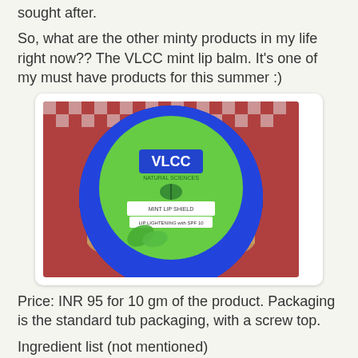sought after.
So, what are the other minty products in my life right now?? The VLCC mint lip balm. It's one of my must have products for this summer :)
[Figure (photo): VLCC mint lip balm in a circular tub with blue lid and green label showing the VLCC Natural Sciences branding, placed on a red and white checkered surface.]
Price: INR 95 for 10 gm of the product. Packaging is the standard tub packaging, with a screw top.
Ingredient list (not mentioned)
[Figure (photo): Partial view of another VLCC product on a red and white checkered surface.]